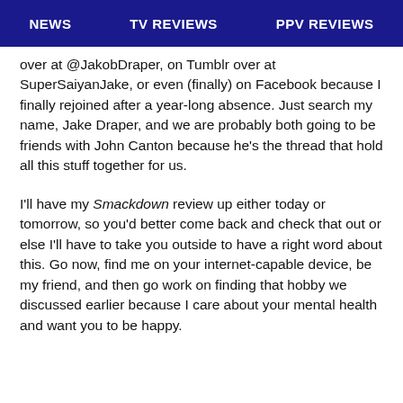NEWS   TV REVIEWS   PPV REVIEWS
over at @JakobDraper, on Tumblr over at SuperSaiyanJake, or even (finally) on Facebook because I finally rejoined after a year-long absence. Just search my name, Jake Draper, and we are probably both going to be friends with John Canton because he's the thread that hold all this stuff together for us.
I'll have my Smackdown review up either today or tomorrow, so you'd better come back and check that out or else I'll have to take you outside to have a right word about this. Go now, find me on your internet-capable device, be my friend, and then go work on finding that hobby we discussed earlier because I care about your mental health and want you to be happy.